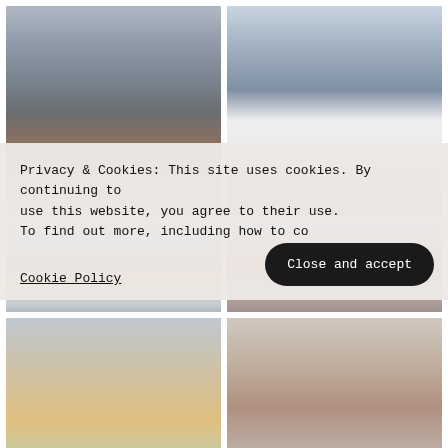[Figure (photo): Black woman sitting on metal stairs/steps at an urban elevated train station, wearing a denim jacket and light pants, smiling at the camera, with city buildings in the background]
[Figure (photo): Black man in a white t-shirt smiling and looking to the side, standing in an urban environment with a bridge or elevated structure and city buildings in the blurred background]
[Figure (photo): Urban street scene with an orange letter G sign visible, bokeh city background]
[Figure (photo): Urban street scene with colorful signage and city infrastructure]
Privacy & Cookies: This site uses cookies. By continuing to use this website, you agree to their use.
To find out more, including how to co
Cookie Policy
Close and accept
[Figure (photo): Partial bottom photo 1 - urban/street scene]
[Figure (photo): Partial bottom photo 2 - urban/street scene]